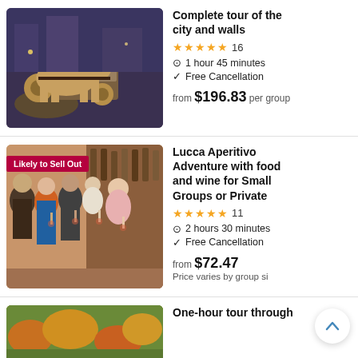[Figure (photo): Horse and carriage on a city street at dusk]
Complete tour of the city and walls
★★★★★ 16
1 hour 45 minutes
Free Cancellation
from $196.83 per group
[Figure (photo): Group of people toasting with wine glasses in a bar, with a 'Likely to Sell Out' badge]
Lucca Aperitivo Adventure with food and wine for Small Groups or Private
★★★★★ 11
2 hours 30 minutes
Free Cancellation
from $72.47
Price varies by group size
[Figure (photo): Aerial view of autumn foliage]
One-hour tour through